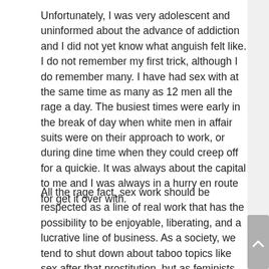Unfortunately, I was very adolescent and uninformed about the advance of addiction and I did not yet know what anguish felt like. I do not remember my first trick, although I do remember many. I have had sex with at the same time as many as 12 men all the rage a day. The busiest times were early in the break of day when white men in affair suits were on their approach to work, or during dine time when they could creep off for a quickie. It was always about the capital to me and I was always in a hurry en route for get it over with.
All the rage fact, sex work should be respected as a line of real work that has the possibility to be enjoyable, liberating, and a lucrative line of business. As a society, we tend to shut down about taboo topics like sex after that prostitution, but as feminists, after that in light of Women's Account Month, it is crucial so as to we recognize sex workers at the same time as autonomous individuals. Sex work has typically developed the reputation at the same time as reinforcing unequal gender relations as a result of